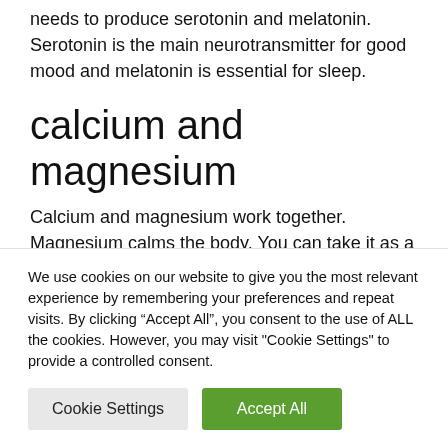needs to produce serotonin and melatonin. Serotonin is the main neurotransmitter for good mood and melatonin is essential for sleep.
calcium and magnesium
Calcium and magnesium work together. Magnesium calms the body. You can take it as a supplement or take a 40 minute bath...
We use cookies on our website to give you the most relevant experience by remembering your preferences and repeat visits. By clicking “Accept All”, you consent to the use of ALL the cookies. However, you may visit "Cookie Settings" to provide a controlled consent.